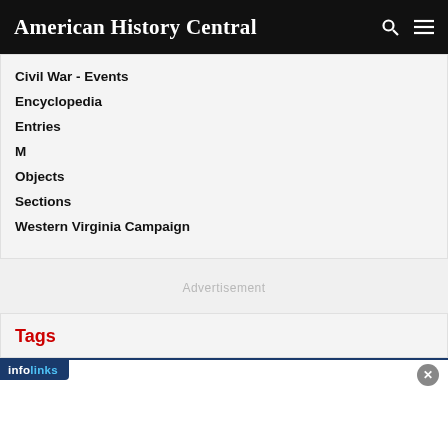American History Central
Civil War - Events
Encyclopedia
Entries
M
Objects
Sections
Western Virginia Campaign
Advertisement
Tags
[Figure (other): Infolinks advertisement bar with close button]